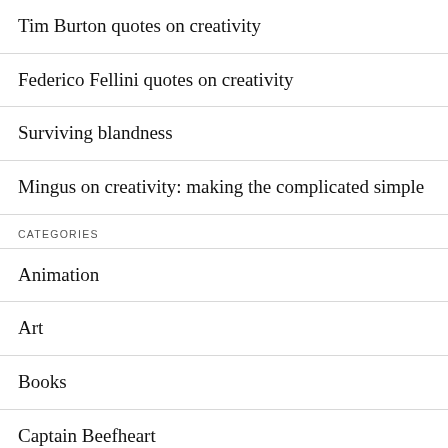Tim Burton quotes on creativity
Federico Fellini quotes on creativity
Surviving blandness
Mingus on creativity: making the complicated simple
CATEGORIES
Animation
Art
Books
Captain Beefheart
Cartooning